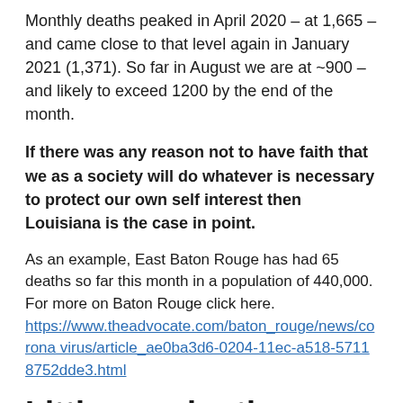Monthly deaths peaked in April 2020 – at 1,665 – and came close to that level again in January 2021 (1,371). So far in August we are at ~900 – and likely to exceed 1200 by the end of the month.
If there was any reason not to have faith that we as a society will do whatever is necessary to protect our own self interest then Louisiana is the case in point.
As an example, East Baton Rouge has had 65 deaths so far this month in a population of 440,000. For more on Baton Rouge click here.
https://www.theadvocate.com/baton_rouge/news/coronavirus/article_ae0ba3d6-0204-11ec-a518-57118752dde3.html
Little wonder the overall